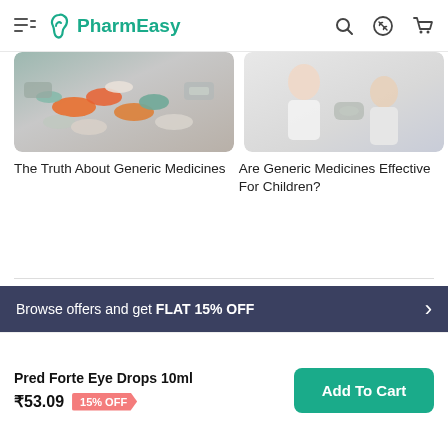PharmEasy
[Figure (photo): Photo of various pills and medicine blister packs]
The Truth About Generic Medicines
[Figure (photo): Photo of a doctor or healthcare professional with a patient (child)]
Are Generic Medicines Effective For Children?
Disclaimer
The information provided herein is supplied to the best of our abilities to make it accurate and reliable as it is published after a review by a team of professionals. This information is solely intended to provide a general overview on the product and must be used for informational purposes only. You should not use the information provided herein to diagnose, prevent, or cure a health problem. Nothing contained on this page is intended to create a doctor-patient
Browse offers and get FLAT 15% OFF
Pred Forte Eye Drops 10ml
₹53.09  15% OFF